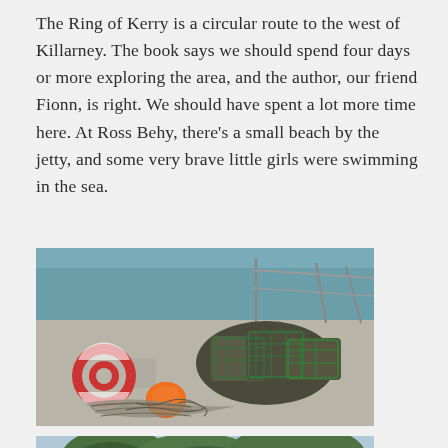The Ring of Kerry is a circular route to the west of Killarney. The book says we should spend four days or more exploring the area, and the author, our friend Fionn, is right. We should have spent a lot more time here. At Ross Behy, there's a small beach by the jetty, and some very brave little girls were swimming in the sea.
[Figure (photo): Photo of fishing lobster pots/traps stacked on a concrete jetty beside the sea. An orange buoy and ropes are visible in the foreground, and a railing is visible in the background.]
[Figure (photo): Partial photo at bottom of page showing a green landscape scene.]